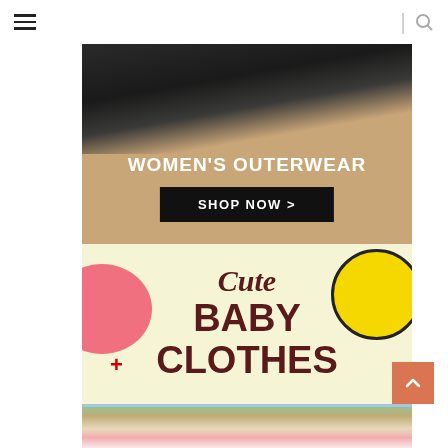≡  |  🔍
[Figure (photo): Women's outerwear promotional banner with dark clothing photo on tan/khaki background, bold white text 'WOMEN'S OUTERWEAR' and black 'SHOP NOW >' button]
[Figure (infographic): Cute Baby Clothes promotional banner on light yellow background with decorative pink circle, yellow circle, red plus sign, dark brown bold text reading 'Cute BABY CLOTHES']
[Figure (photo): Bottom portion of baby clothes banner showing a pink baby shirt laid on a surface with flowers and other items]